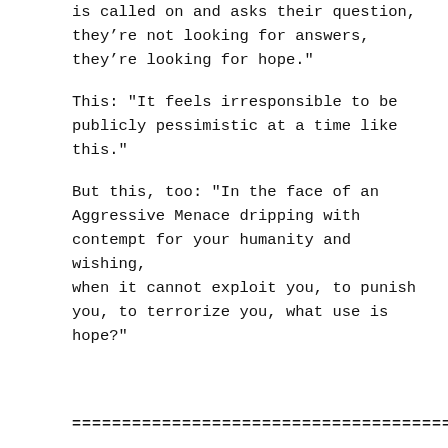is called on and asks their question, they’re not looking for answers, they’re looking for hope."
This: "It feels irresponsible to be publicly pessimistic at a time like this."
But this, too: "In the face of an Aggressive Menace dripping with contempt for your humanity and wishing, when it cannot exploit you, to punish you, to terrorize you, what use is hope?"
================================================